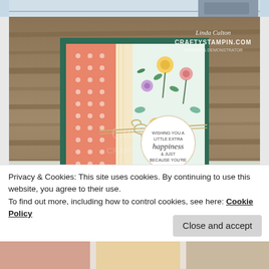[Figure (photo): Top strip showing partial image of card or craft project]
[Figure (photo): Handmade greeting card on CraftyStampin.com. Card features a dark green base with coral/salmon polka-dot panel, cream vertical strip, and floral patterned paper with flowers in yellow, pink, purple. A twine bow holds a circular tag reading 'Wishing you a little extra happiness & just because you're you'. Watermark: Linda Culton CraftyStampin.com]
Privacy & Cookies: This site uses cookies. By continuing to use this website, you agree to their use.
To find out more, including how to control cookies, see here: Cookie Policy
[Figure (photo): Bottom strip showing partial colorful craft image]